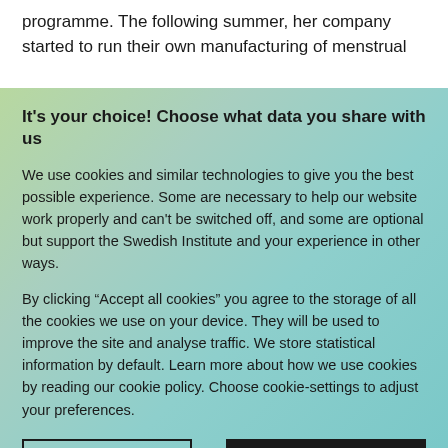programme. The following summer, her company started to run their own manufacturing of menstrual
It's your choice! Choose what data you share with us
We use cookies and similar technologies to give you the best possible experience. Some are necessary to help our website work properly and can't be switched off, and some are optional but support the Swedish Institute and your experience in other ways.
By clicking “Accept all cookies” you agree to the storage of all the cookies we use on your device. They will be used to improve the site and analyse traffic. We store statistical information by default. Learn more about how we use cookies by reading our cookie policy. Choose cookie-settings to adjust your preferences.
Cookie-settings
Accept all cookies